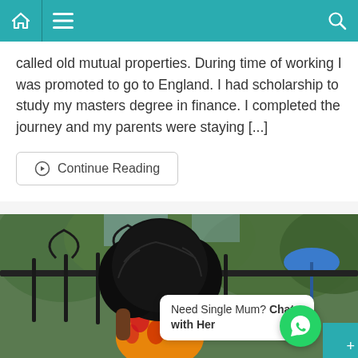Navigation bar with home, menu, and search icons
called old mutual properties. During time of working I was promoted to go to England. I had scholarship to study my masters degree in finance. I completed the journey and my parents were staying [...]
Continue Reading
[Figure (photo): Woman with large afro hairstyle wearing a colorful African print dress, standing near a black ornamental gate with trees in background]
Need Single Mum? Chat with Her